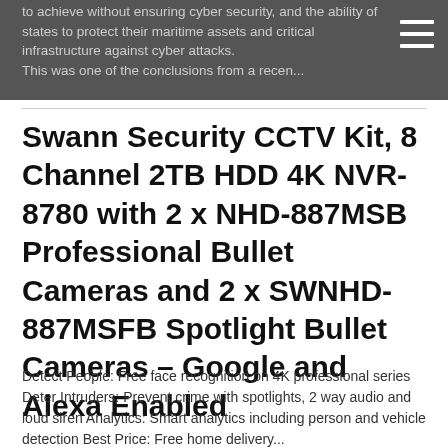to achieve without ensuring cyber security, and the ability of states to protect their maritime assets and critical infrastructure against cyber attacks. This was one of the conclusions from a recen...
Swann Security CCTV Kit, 8 Channel 2TB HDD 4K NVR-8780 with 2 x NHD-887MSB Professional Bullet Cameras and 2 x SWNHD-887MSFB Spotlight Bullet Cameras – Google and Alexa Enabled
Detect People: Free face recognition on 4K professional series Deter Intruders: Prevent crime with spotlights, 2 way audio and loud siren Analytics: Smart analytics including person and vehicle detection Best Price: Free home delivery...